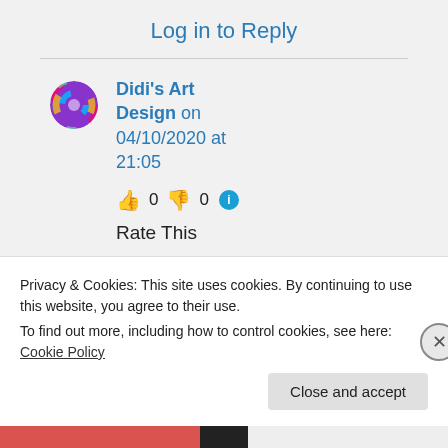Log in to Reply
Didi's Art Design on 04/10/2020 at 21:05
👍 0 👎 0 ℹ️
Rate This
Thank you,
Privacy & Cookies: This site uses cookies. By continuing to use this website, you agree to their use. To find out more, including how to control cookies, see here: Cookie Policy
Close and accept